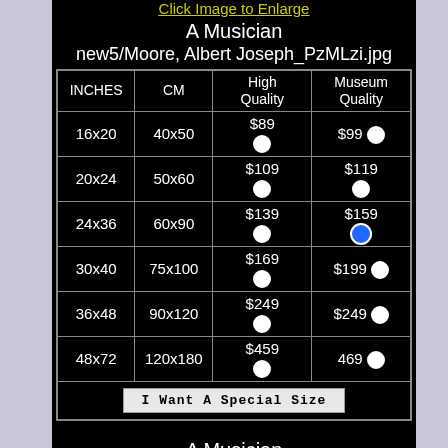Click Image to Enlarge
A Musician
new5/Moore, Albert Joseph_PzMLzi.jpg
| INCHES | CM | High Quality | Museum Quality |
| --- | --- | --- | --- |
| 16x20 | 40x50 | $89 | $99 |
| 20x24 | 50x60 | $109 | $119 |
| 24x36 | 60x90 | $139 | $159 |
| 30x40 | 75x100 | $169 | $199 |
| 36x48 | 90x120 | $249 | $249 |
| 48x72 | 120x180 | $459 | 469 |
I Want A Special Size
A Musician